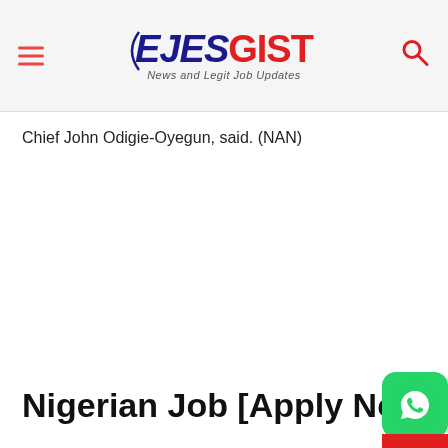EJESGIST - News and Legit Job Updates
Chief John Odigie-Oyegun, said. (NAN)
Nigerian Job [Apply Now]